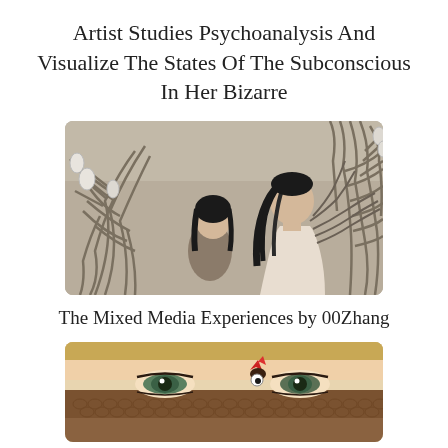Artist Studies Psychoanalysis And Visualize The States Of The Subconscious In Her Bizarre
[Figure (photo): Two figures among swirling dark branch-like sculptural elements on a beige background, mixed media art by 00Zhang]
The Mixed Media Experiences by 00Zhang
[Figure (photo): Close-up of a person's eyes with blonde hair, looking through a crocheted brown mask/costume with a small red rooster detail and googly eye]